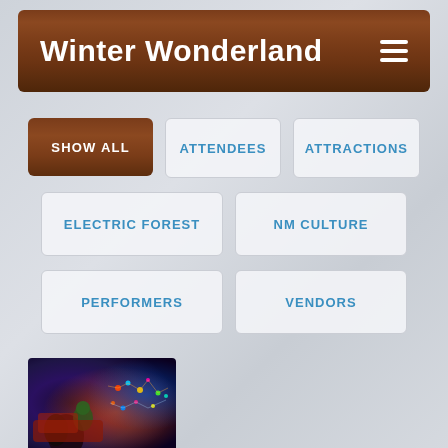Winter Wonderland
SHOW ALL
ATTENDEES
ATTRACTIONS
ELECTRIC FOREST
NM CULTURE
PERFORMERS
VENDORS
[Figure (photo): Night event photo showing festive lights and costumed characters including what appears to be the Grinch, with colorful illuminated decorations in the background]